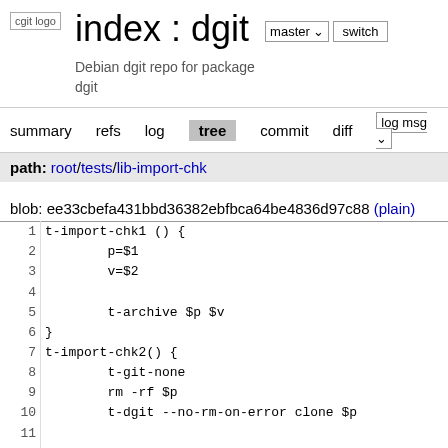cgit logo
index : dgit
Debian dgit repo for package dgit
summary   refs   log   tree   commit   diff   log msg
path: root/tests/lib-import-chk
blob: ee33cbefa431bbd36382ebfbca64be4836d97c88 (plain)
1  t-import-chk1 () {
2          p=$1
3          v=$2
4  
5          t-archive $p $v
6  }
7  t-import-chk2() {
8          t-git-none
9          rm -rf $p
10         t-dgit --no-rm-on-error clone $p
11 
12         # And now we make an update using the s
13         # check that the orig import is stable.
14 
15         cd $p
16